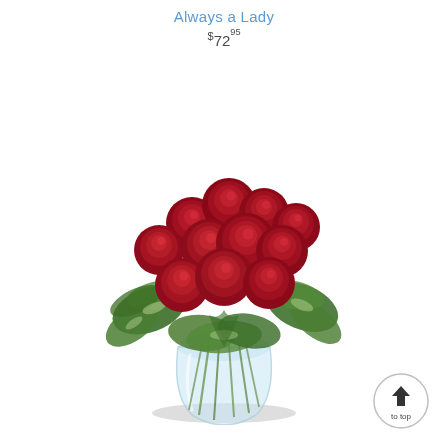Always a Lady $72.95
[Figure (photo): A bouquet of red roses with green foliage arranged in a clear glass vase, photographed on white background.]
[Figure (other): A circular 'to top' button with an upward arrow icon and the text 'to top' below it.]